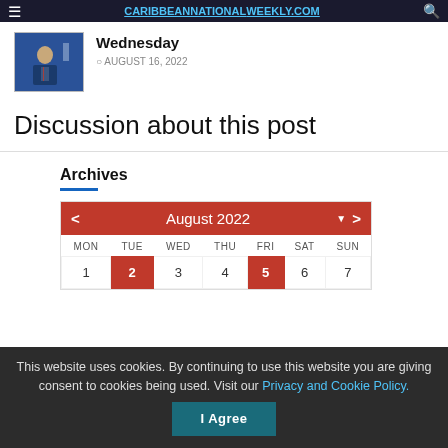Wednesday
AUGUST 16, 2022
Discussion about this post
Archives
[Figure (other): Calendar widget showing August 2022 with navigation arrows. Days of week: MON, TUE, WED, THU, FRI, SAT, SUN. First row: 1, 2 (highlighted red), 3, 4, 5 (highlighted red), 6, 7.]
This website uses cookies. By continuing to use this website you are giving consent to cookies being used. Visit our Privacy and Cookie Policy.